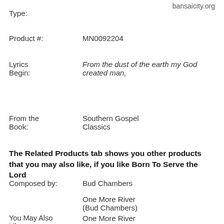bansaicity.org
Type:
Product #:    MN0092204
Lyrics Begin:    From the dust of the earth my God created man,
From the Book:    Southern Gospel Classics
The Related Products tab shows you other products that you may also like, if you like Born To Serve the Lord
Composed by:    Bud Chambers
One More River (Bud Chambers)
You May Also Like:    One More River (Bill & Gloria Gaither)